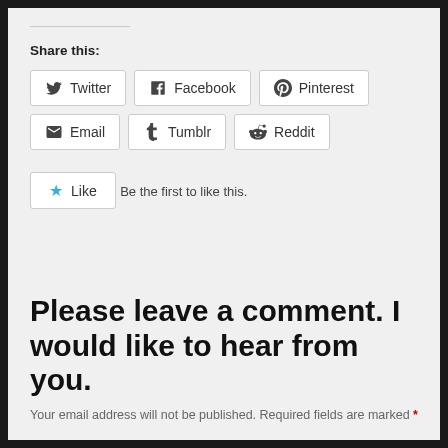Share this:
Twitter
Facebook
Pinterest
Email
Tumblr
Reddit
Like
Be the first to like this.
Please leave a comment. I would like to hear from you.
Your email address will not be published. Required fields are marked *